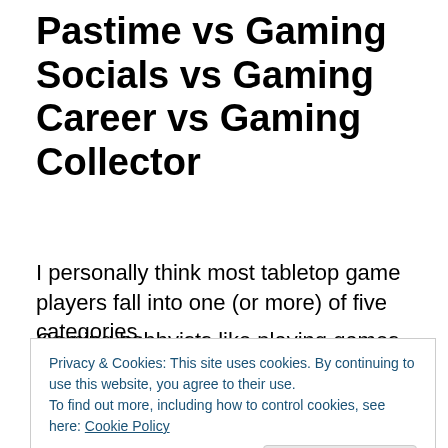Pastime vs Gaming Socials vs Gaming Career vs Gaming Collector
I personally think most tabletop game players fall into one (or more) of five categories.
Gaming hobbyists like playing games, but they also enjoy working on games. Like someone building ships in bottles or having a reading group, there are aspects of the tabletop games they like to interact with outside of strict
Privacy & Cookies: This site uses cookies. By continuing to use this website, you agree to their use.
To find out more, including how to control cookies, see here: Cookie Policy
the elements of the game outside of time spent playing it.